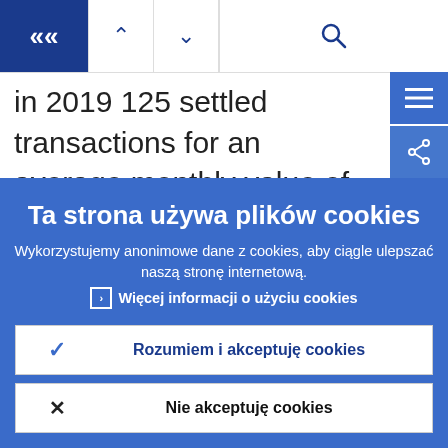[Figure (screenshot): Navigation bar with back (<<), up (^), down (v) arrows, and search icon]
in 2019 125 settled transactions for an average monthly value of €23,505.30 billion. Chart 8 depicts total monthly traffic in terms of value, broken down by NTS and
Ta strona używa plików cookies
Wykorzystujemy anonimowe dane z cookies, aby ciągle ulepszać naszą stronę internetową.
› Więcej informacji o użyciu cookies
✓ Rozumiem i akceptuję cookies
✗ Nie akceptuję cookies